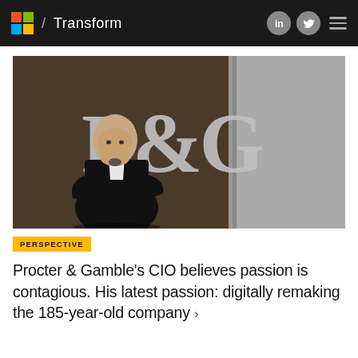/ Transform
[Figure (photo): A man in a black suit with arms crossed standing in front of a large P&G logo on a dark wall]
PERSPECTIVE
Procter & Gamble's CIO believes passion is contagious. His latest passion: digitally remaking the 185-year-old company >